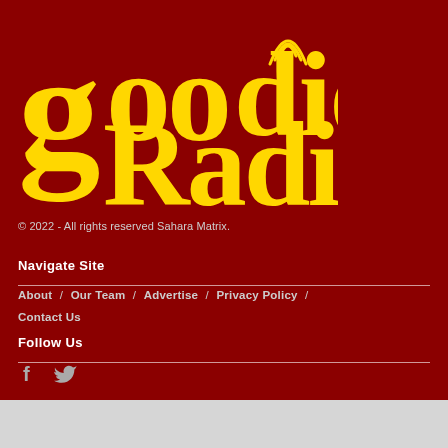[Figure (logo): Goodies Radio logo in yellow on dark red background, featuring stylized text with radio signal waves above the letter i in 'goodies' and a vinyl record element in the letter g.]
© 2022 - All rights reserved Sahara Matrix.
Navigate Site
About  /  Our Team  /  Advertise  /  Privacy Policy  /  Contact Us
Follow Us
[Figure (illustration): Facebook and Twitter social media icons in light grey color.]